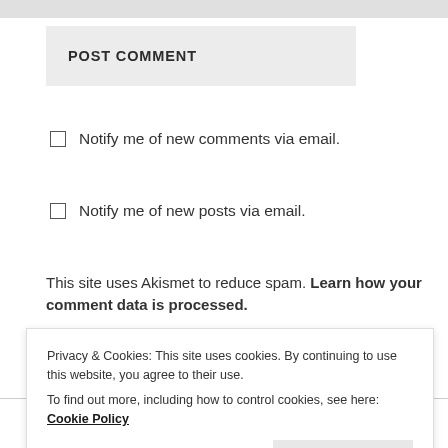POST COMMENT
Notify me of new comments via email.
Notify me of new posts via email.
This site uses Akismet to reduce spam. Learn how your comment data is processed.
PREVIOUS POST
Privacy & Cookies: This site uses cookies. By continuing to use this website, you agree to their use.
To find out more, including how to control cookies, see here: Cookie Policy
Close and accept